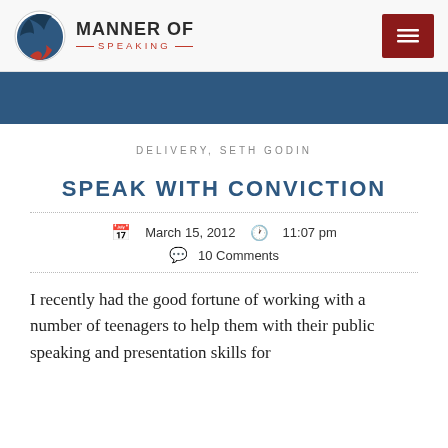MANNER OF SPEAKING
DELIVERY, SETH GODIN
SPEAK WITH CONVICTION
March 15, 2012  11:07 pm  10 Comments
I recently had the good fortune of working with a number of teenagers to help them with their public speaking and presentation skills for